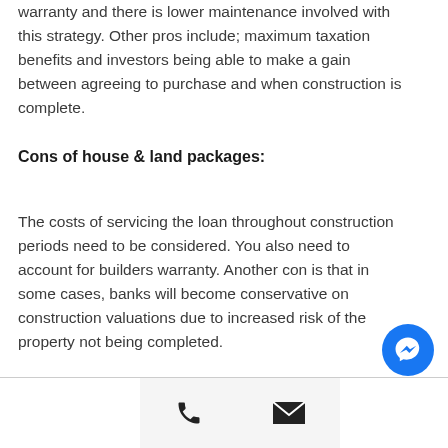warranty and there is lower maintenance involved with this strategy. Other pros include; maximum taxation benefits and investors being able to make a gain between agreeing to purchase and when construction is complete.
Cons of house & land packages:
The costs of servicing the loan throughout construction periods need to be considered. You also need to account for builders warranty. Another con is that in some cases, banks will become conservative on construction valuations due to increased risk of the property not being completed.
Phone and email contact icons